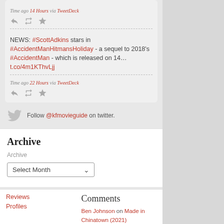Time ago 14 Hours via TweetDeck
NEWS: #ScottAdkins stars in #AccidentManHitmansHoliday - a sequel to 2018's #AccidentMan - which is released on 14… t.co/4m1KThvLjj
Time ago 22 Hours via TweetDeck
Follow @kfmovieguide on twitter.
Archive
Archive
Select Month
Reviews
Profiles
Comments
Ben Johnson on Made in Chinatown (2021)